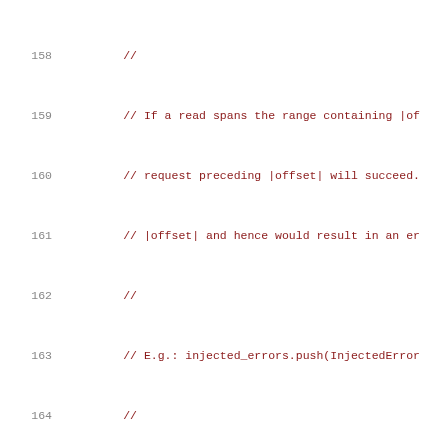Source code listing, lines 158-178, showing comment block about injected errors and offset handling logic.